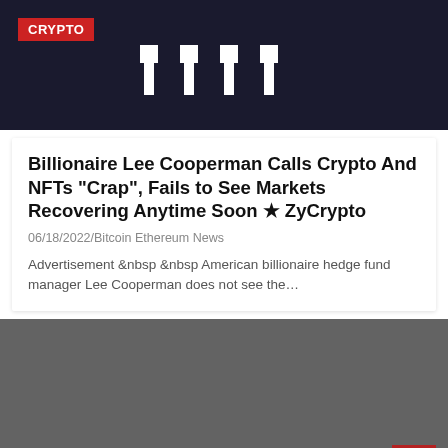[Figure (logo): Dark navy header with ZyCrypto logo (tuning fork / crypto symbol icons in white) and a red CRYPTO badge in the top-left corner]
Billionaire Lee Cooperman Calls Crypto And NFTs “Crap”, Fails to See Markets Recovering Anytime Soon ★ ZyCrypto
06/18/2022/Bitcoin Ethereum News
Advertisement &nbsp &nbsp American billionaire hedge fund manager Lee Cooperman does not see the…
[Figure (photo): Dark grey rectangular image area, partially visible, with a red scroll-to-top arrow button in the bottom-right corner]